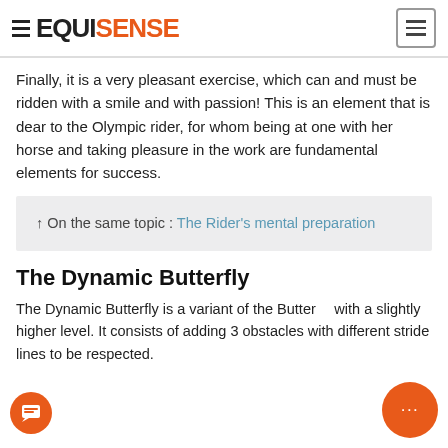EQUISENSE
Finally, it is a very pleasant exercise, which can and must be ridden with a smile and with passion! This is an element that is dear to the Olympic rider, for whom being at one with her horse and taking pleasure in the work are fundamental elements for success.
↑ On the same topic : The Rider's mental preparation
The Dynamic Butterfly
The Dynamic Butterfly is a variant of the Butterfly with a slightly higher level. It consists of adding 3 obstacles with different stride lines to be respected.